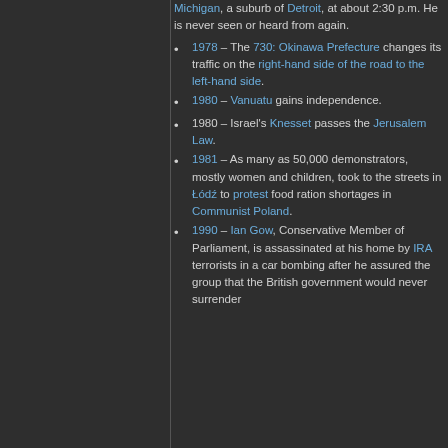Michigan, a suburb of Detroit, at about 2:30 p.m. He is never seen or heard from again.
1978 – The 730: Okinawa Prefecture changes its traffic on the right-hand side of the road to the left-hand side.
1980 – Vanuatu gains independence.
1980 – Israel's Knesset passes the Jerusalem Law.
1981 – As many as 50,000 demonstrators, mostly women and children, took to the streets in Łódź to protest food ration shortages in Communist Poland.
1990 – Ian Gow, Conservative Member of Parliament, is assassinated at his home by IRA terrorists in a car bombing after he assured the group that the British government would never surrender